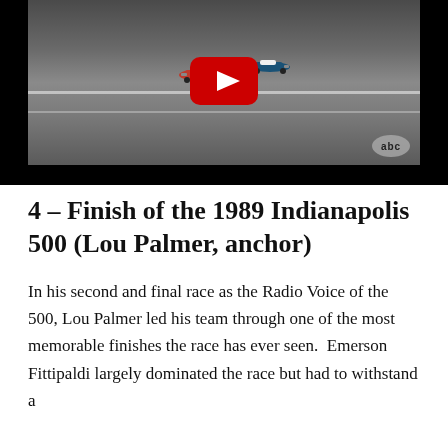[Figure (screenshot): YouTube video thumbnail showing two IndyCars racing on track, with a red YouTube play button overlay and ABC logo watermark in the bottom right corner. Black border surrounds the video frame.]
4 – Finish of the 1989 Indianapolis 500 (Lou Palmer, anchor)
In his second and final race as the Radio Voice of the 500, Lou Palmer led his team through one of the most memorable finishes the race has ever seen.  Emerson Fittipaldi largely dominated the race but had to withstand a